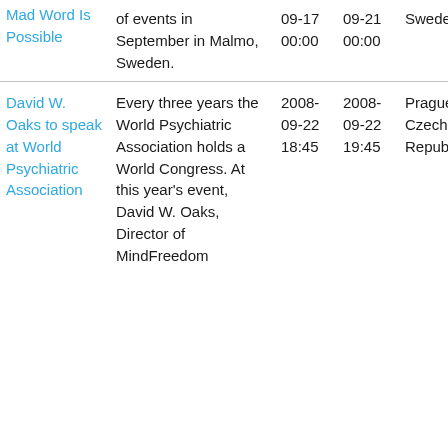| Mad Word Is Possible | of events in September in Malmo, Sweden. | 09-17 00:00 | 09-21 00:00 | Sweden |
| David W. Oaks to speak at World Psychiatric Association | Every three years the World Psychiatric Association holds a World Congress. At this year's event, David W. Oaks, Director of MindFreedom | 2008-09-22 18:45 | 2008-09-22 19:45 | Prague, Czech Republic |